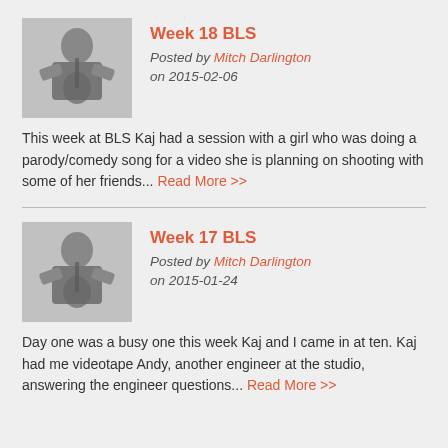[Figure (photo): Black and white photo of a person playing guitar, thumbnail for Week 18 BLS post]
Week 18 BLS
Posted by Mitch Darlington on 2015-02-06
This week at BLS Kaj had a session with a girl who was doing a parody/comedy song for a video she is planning on shooting with some of her friends... Read More >>
[Figure (photo): Black and white photo of a person playing guitar, thumbnail for Week 17 BLS post]
Week 17 BLS
Posted by Mitch Darlington on 2015-01-24
Day one was a busy one this week Kaj and I came in at ten. Kaj had me videotape Andy, another engineer at the studio, answering the engineer questions... Read More >>